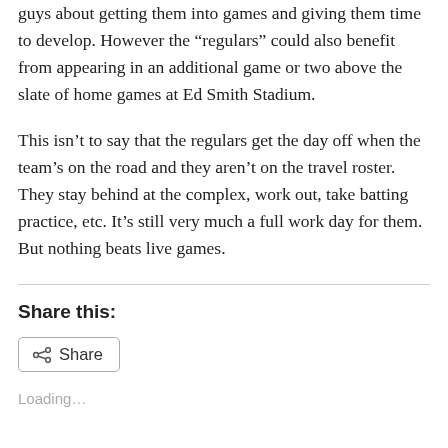guys about getting them into games and giving them time to develop. However the “regulars” could also benefit from appearing in an additional game or two above the slate of home games at Ed Smith Stadium.
This isn’t to say that the regulars get the day off when the team’s on the road and they aren’t on the travel roster. They stay behind at the complex, work out, take batting practice, etc. It’s still very much a full work day for them. But nothing beats live games.
Share this:
Loading...